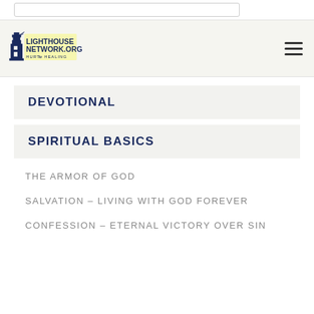[Figure (logo): Lighthouse Network.org Hurt to Healing logo with lighthouse icon]
DEVOTIONAL
SPIRITUAL BASICS
THE ARMOR OF GOD
SALVATION – LIVING WITH GOD FOREVER
CONFESSION – ETERNAL VICTORY OVER SIN